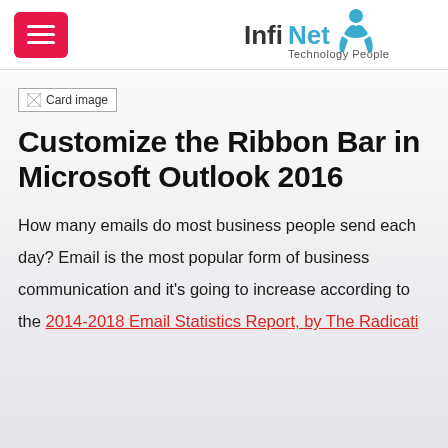[Figure (logo): InfiNet Technology People logo with teal figure icon and blue/teal text]
[Figure (photo): Card image placeholder (broken image icon)]
Customize the Ribbon Bar in Microsoft Outlook 2016
How many emails do most business people send each day? Email is the most popular form of business communication and it's going to increase according to the 2014-2018 Email Statistics Report, by The Radicati Group